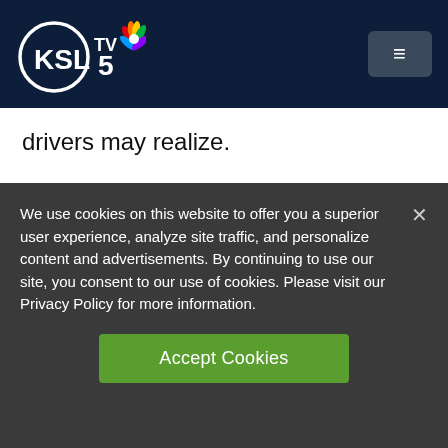KSL TV 5
drivers may realize.
Only one of those workers suffered serious injuries, and he's expected to recover. But all of them will have to deal with the mental impact of having been there as a truck came
We use cookies on this website to offer you a superior user experience, analyze site traffic, and personalize content and advertisements. By continuing to use our site, you consent to our use of cookies. Please visit our Privacy Policy for more information.
Accept Cookies